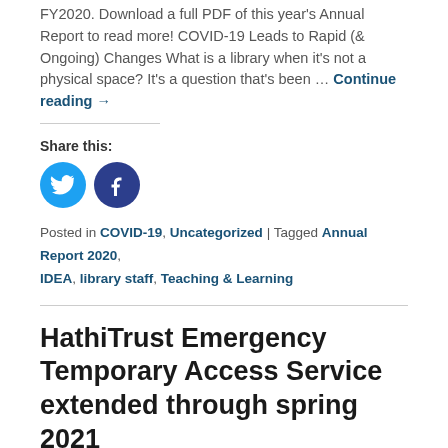FY2020. Download a full PDF of this year's Annual Report to read more! COVID-19 Leads to Rapid (& Ongoing) Changes What is a library when it's not a physical space? It's a question that's been … Continue reading →
Share this:
[Figure (illustration): Twitter and Facebook share buttons as circular icons (blue Twitter bird, dark blue Facebook 'f')]
Posted in COVID-19, Uncategorized | Tagged Annual Report 2020, IDEA, library staff, Teaching & Learning
HathiTrust Emergency Temporary Access Service extended through spring 2021
Posted on November 24, 2020 by Jeff
The Emergency Temporary Access Service (ETAS) provided by